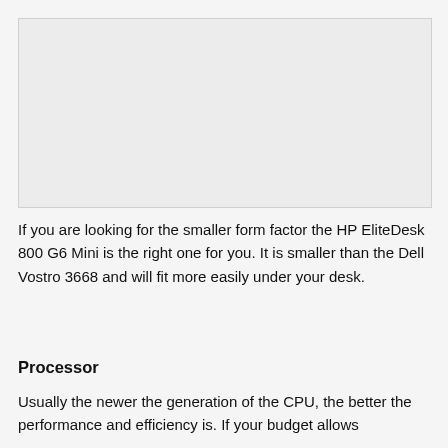[Figure (photo): Image placeholder area (photo of a desktop computer, likely the HP EliteDesk 800 G6 Mini)]
If you are looking for the smaller form factor the HP EliteDesk 800 G6 Mini is the right one for you. It is smaller than the Dell Vostro 3668 and will fit more easily under your desk.
Processor
Usually the newer the generation of the CPU, the better the performance and efficiency is. If your budget allows to go with the next level the HP Elite Desk 800 G6 Mini...